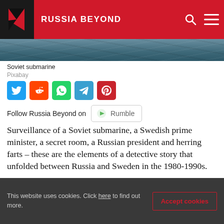RUSSIA BEYOND
[Figure (photo): Ocean/sea surface photograph serving as background for a Soviet submarine article]
Soviet submarine
Pixabay
[Figure (other): Social media share buttons: Twitter, Reddit, WhatsApp, Telegram, Pinterest]
Follow Russia Beyond on Rumble
Surveillance of a Soviet submarine, a Swedish prime minister, a secret room, a Russian president and herring farts – these are the elements of a detective story that unfolded between Russia and Sweden in the 1980-1990s.
This website uses cookies. Click here to find out more.
Accept cookies